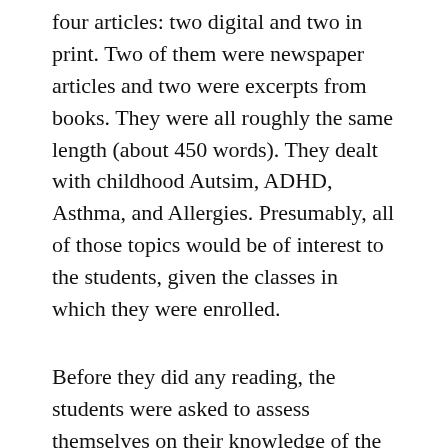four articles: two digital and two in print. Two of them were newspaper articles and two were excerpts from books. They were all roughly the same length (about 450 words). They dealt with childhood Autsim, ADHD, Asthma, and Allergies. Presumably, all of those topics would be of interest to the students, given the classes in which they were enrolled.
Before they did any reading, the students were asked to assess themselves on their knowledge of the four topics about which they would be reading. They were also asked which medium they preferred to read: digital or print. They were also asked about how frequently they used each medium. They were then asked to